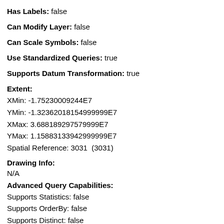Has Labels: false
Can Modify Layer: false
Can Scale Symbols: false
Use Standardized Queries: true
Supports Datum Transformation: true
Extent:
XMin: -1.75230009244E7
YMin: -1.32362018154999999E7
XMax: 3.688189297579999E7
YMax: 1.15883133942999999E7
Spatial Reference: 3031  (3031)
Drawing Info:
N/A
Advanced Query Capabilities:
Supports Statistics: false
Supports OrderBy: false
Supports Distinct: false
Supports Pagination: false
Supports TrueCurve: true
Supports Returning Query Extent: true
Supports Query With Distance: true